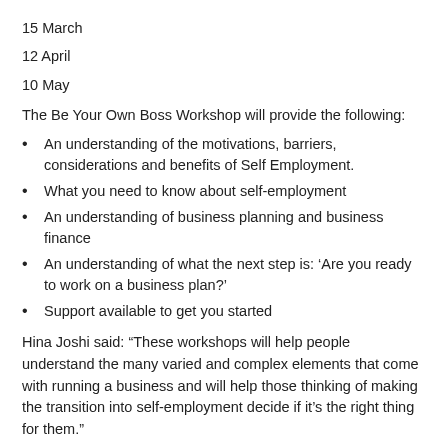15 March
12 April
10 May
The Be Your Own Boss Workshop will provide the following:
An understanding of the motivations, barriers, considerations and benefits of Self Employment.
What you need to know about self-employment
An understanding of business planning and business finance
An understanding of what the next step is: ‘Are you ready to work on a business plan?’
Support available to get you started
Hina Joshi said: “These workshops will help people understand the many varied and complex elements that come with running a business and will help those thinking of making the transition into self-employment decide if it’s the right thing for them.”
For more information about this, please visit...